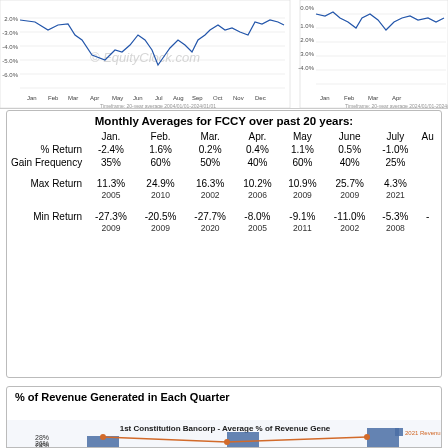[Figure (continuous-plot): Two line charts showing FCCY seasonal performance over months (Jan-Dec) and partial year, with percent return on y-axis ranging from about -6% to 2%, watermarked with EquityClock.com]
Monthly Averages for FCCY over past 20 years:
|  | Jan. | Feb. | Mar. | Apr. | May | June | July | Au |
| --- | --- | --- | --- | --- | --- | --- | --- | --- |
| % Return | -2.4% | 1.6% | 0.2% | 0.4% | 1.1% | 0.5% | -1.0% |  |
| Gain Frequency | 35% | 60% | 50% | 40% | 60% | 40% | 25% |  |
| Max Return | 11.3% | 24.9% | 16.3% | 10.2% | 10.9% | 25.7% | 4.3% |  |
|  | 2005 | 2010 | 2002 | 2006 | 2009 | 2009 | 2021 |  |
| Min Return | -27.3% | -20.5% | -27.7% | -8.0% | -9.1% | -11.0% | -5.3% |  |
|  | 2009 | 2009 | 2020 | 2005 | 2011 | 2002 | 2008 |  |
% of Revenue Generated in Each Quarter
[Figure (line-chart): 1st Constitution Bancorp - Average % of Revenue Generated per quarter, showing bar chart with line overlay for 2021 Revenue. Visible data: 28%, 26%, 24% on y-axis. Bars for Q1 and partial Q2/Q3/Q4 visible with orange and blue lines.]